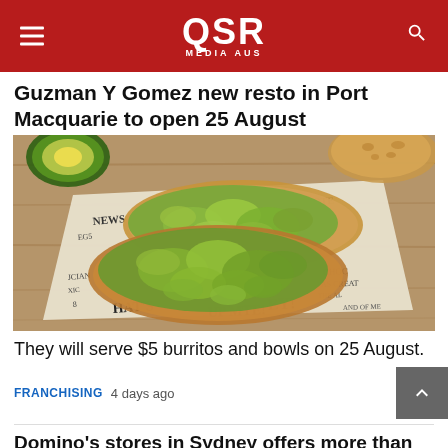QSR MEDIA AUS
Guzman Y Gomez new resto in Port Macquarie to open 25 August
[Figure (photo): Avocado toast served on newspaper-print wrapper on a wooden surface, with halved avocado and bread in background]
They will serve $5 burritos and bowls on 25 August.
FRANCHISING 4 days ago
Domino's stores in Sydney offers more than 1,000 jobs